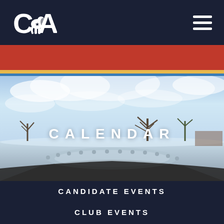CA Republican logo and hamburger menu navigation
[Figure (photo): Winter landscape scene with snow-covered ground, bare trees, and a blue sky with soft clouds. A circular monument or fountain area is visible in the foreground with small round stones or bollards.]
CALENDAR
CANDIDATE EVENTS
CLUB EVENTS